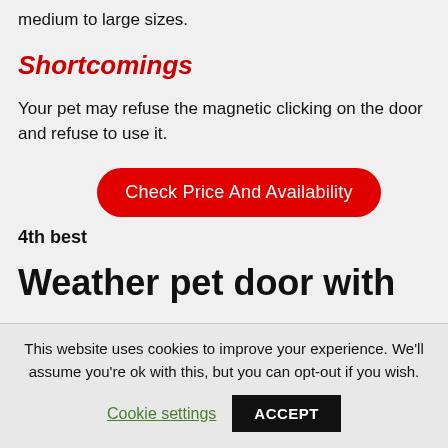medium to large sizes.
Shortcomings
Your pet may refuse the magnetic clicking on the door and refuse to use it.
Check Price And Availability
4th best
Weather pet door with
This website uses cookies to improve your experience. We'll assume you're ok with this, but you can opt-out if you wish.
Cookie settings
ACCEPT